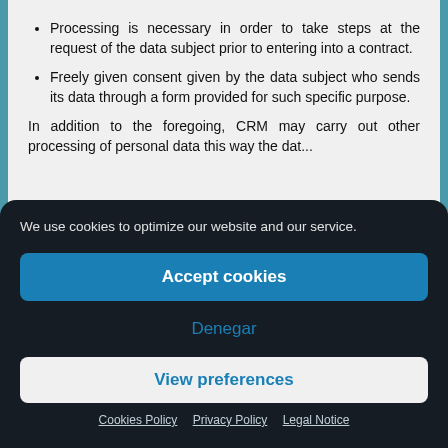Processing is necessary in order to take steps at the request of the data subject prior to entering into a contract.
Freely given consent given by the data subject who sends its data through a form provided for such specific purpose.
In addition to the foregoing, CRM may carry out other processing of personal data...
We use cookies to optimize our website and our service.
Accept cookies
Denegar
View preferences
Cookies Policy   Privacy Policy   Legal Notice